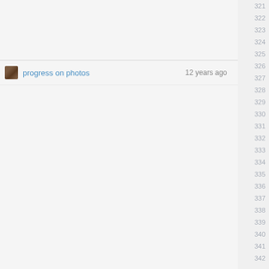progress on photos  12 years ago
321 322 323 324 325 326 327 328 329 330 331 332 333 334 335 336 337 338 339 340 341 342